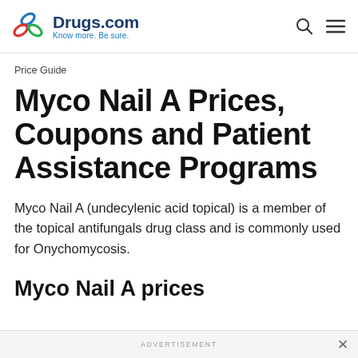Drugs.com — Know more. Be sure.
Price Guide
Myco Nail A Prices, Coupons and Patient Assistance Programs
Myco Nail A (undecylenic acid topical) is a member of the topical antifungals drug class and is commonly used for Onychomycosis.
Myco Nail A prices
ADVERTISEMENT